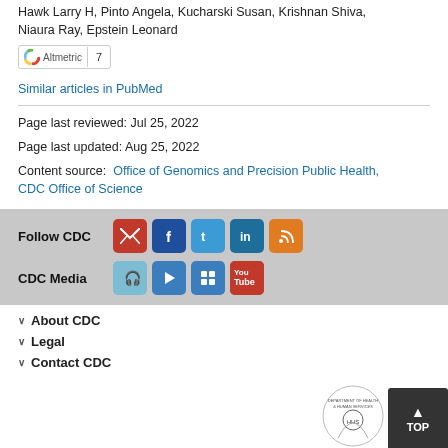Hawk Larry H, Pinto Angela, Kucharski Susan, Krishnan Shiva, Niaura Ray, Epstein Leonard
[Figure (other): Altmetric badge showing score of 7]
Similar articles in PubMed
Page last reviewed: Jul 25, 2022
Page last updated: Aug 25, 2022
Content source: Office of Genomics and Precision Public Health, CDC Office of Science
[Figure (infographic): Follow CDC social media icons: email, Facebook, Twitter, LinkedIn, RSS feed]
[Figure (infographic): CDC Media icons: podcast/audio, video camera, photo gallery, YouTube]
About CDC
Legal
Contact CDC
[Figure (logo): HHS Department of Health and Human Services seal]
[Figure (other): TOP scroll-to-top button]